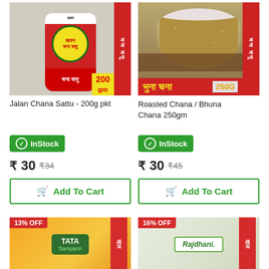[Figure (photo): Jalan Chana Sattu product bag - red packaging with yellow circular badge, 200g weight label]
[Figure (photo): Bowl of roasted chana (chickpeas) on wooden surface with red label 'भुना चना 250G']
Jalan Chana Sattu - 200g pkt
Roasted Chana / Bhuna Chana 250gm
InStock
InStock
₹ 30 ₹34
₹ 30 ₹45
Add To Cart
Add To Cart
[Figure (photo): Tata Sampann product with orange/yellow packaging and vertical दाल banner, 13% OFF badge]
[Figure (photo): Rajdhani brand product with green/white packaging and vertical दाल banner, 16% OFF badge]